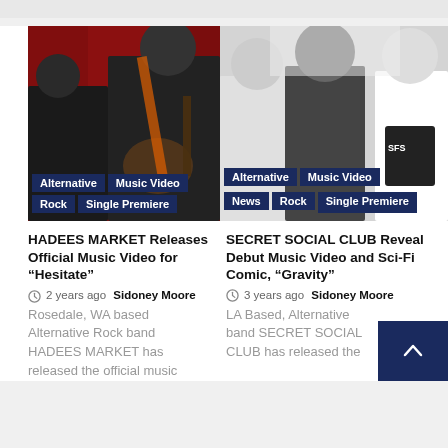[Figure (photo): Two musicians playing guitars in front of a red curtain backdrop]
Alternative | Music Video | Rock | Single Premiere
HADEES MARKET Releases Official Music Video for “Hesitate”
2 years ago  Sidoney Moore
Rosedale, WA based Alternative Rock band HADEES MARKET has released the official music
[Figure (photo): Black and white photo of band members, SECRET SOCIAL CLUB]
Alternative | Music Video | News | Rock | Single Premiere
SECRET SOCIAL CLUB Reveal Debut Music Video and Sci-Fi Comic, “Gravity”
3 years ago  Sidoney Moore
LA Based, Alternative band SECRET SOCIAL CLUB has released the